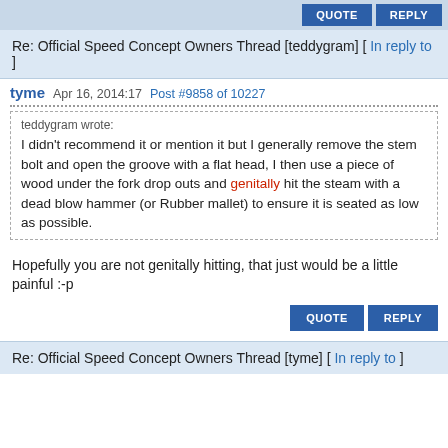Re: Official Speed Concept Owners Thread [teddygram] [ In reply to ]
tyme  Apr 16, 2014 17  Post #9858 of 10227
teddygram wrote: I didn't recommend it or mention it but I generally remove the stem bolt and open the groove with a flat head, I then use a piece of wood under the fork drop outs and genitally hit the steam with a dead blow hammer (or Rubber mallet) to ensure it is seated as low as possible.
Hopefully you are not genitally hitting, that just would be a little painful :-p
Re: Official Speed Concept Owners Thread [tyme] [ In reply to ]